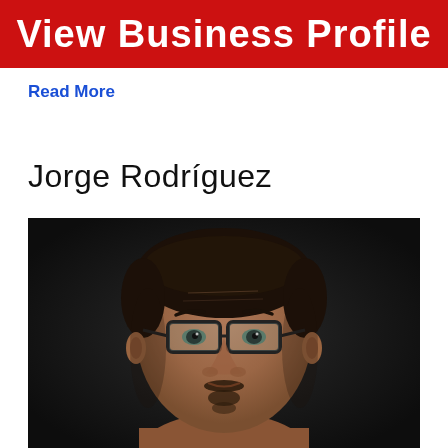View Business Profile
Read More
Jorge Rodríguez
[Figure (photo): Headshot portrait of Jorge Rodríguez, a middle-aged man with short dark hair, wearing dark-framed glasses, with a dark background.]